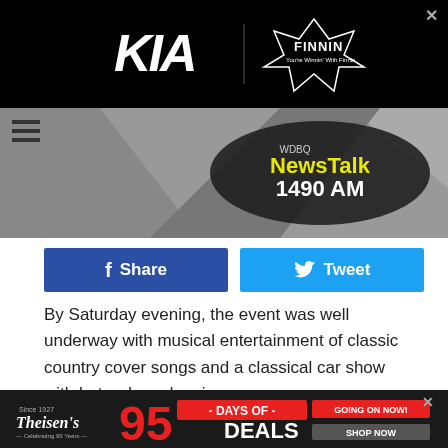[Figure (logo): KIA automotive logo and Finnin dealership badge on black background advertisement banner]
[Figure (logo): WDBQ NewsTalk 1490 AM radio station logo on grey background header]
[Figure (infographic): Facebook Share button (dark blue) and Twitter Tweet button (light blue) social sharing row]
By Saturday evening, the event was well underway with musical entertainment of classic country cover songs and a classical car show with hot rods and cruisers.
[Figure (photo): Outdoor car show scene with classic vehicles lined up, a hot air balloon visible on the left, crowd of people, and a smiling young person in an orange shirt leaning out of a classic car window]
[Figure (infographic): Theisen's advertisement banner: '95 Days of Deals - Going On Now! Shop Now' in red, white and black on dark background]